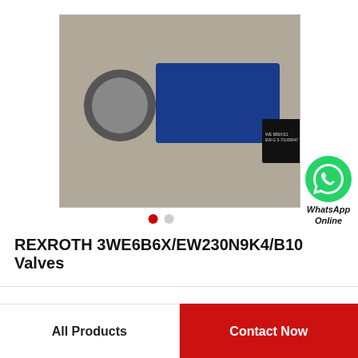[Figure (photo): Photo of a Rexroth hydraulic directional control valve (3WE6B6X/EW230N9K4/B10) in blue and black with a round electrical connector on a wooden surface]
[Figure (logo): WhatsApp green phone icon with text 'WhatsApp Online' below it]
REXROTH 3WE6B6X/EW230N9K4/B10
Valves
All Products
Contact Now